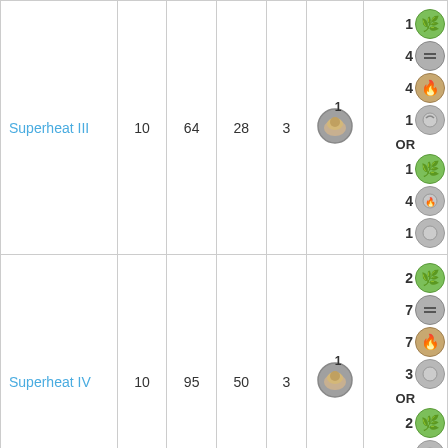| Name | Mana | XP | Action | Cast time | Casting icon | Ingredients |
| --- | --- | --- | --- | --- | --- | --- |
| Superheat III | 10 | 64 | 28 | 3 | 1x casting icon | 1 leaf, 4 grey, 4 fire, 1 air OR 1 leaf, 4 air-fire, 1 air |
| Superheat IV | 10 | 95 | 50 | 3 | 1x casting icon | 2 leaf, 7 grey, 7 fire, 3 air OR 2 leaf, 7 air-fire, 3 air |